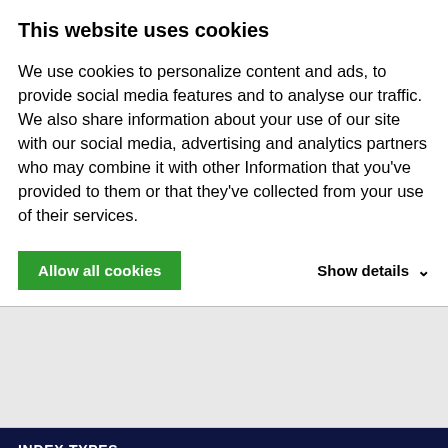This website uses cookies
We use cookies to personalize content and ads, to provide social media features and to analyse our traffic. We also share information about your use of our site with our social media, advertising and analytics partners who may combine it with other Information that you've provided to them or that they've collected from your use of their services.
Allow all cookies
Show details ∨
INDEX TYPES
COUNTRY INDEXES
SECTOR INDEXES
HARD ASSET INDEXES